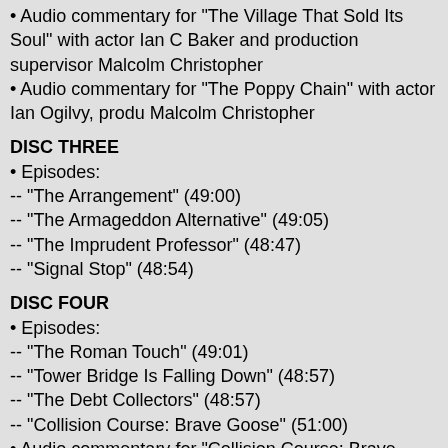• Audio commentary for "The Village That Sold Its Soul" with actor Ian C Baker and production supervisor Malcolm Christopher
• Audio commentary for "The Poppy Chain" with actor Ian Ogilvy, produ Malcolm Christopher
DISC THREE
• Episodes:
-- "The Arrangement" (49:00)
-- "The Armageddon Alternative" (49:05)
-- "The Imprudent Professor" (48:47)
-- "Signal Stop" (48:54)
DISC FOUR
• Episodes:
-- "The Roman Touch" (49:01)
-- "Tower Bridge Is Falling Down" (48:57)
-- "The Debt Collectors" (48:57)
-- "Collision Course: Brave Goose" (51:00)
• Audio commentary for "Collision Course: Brave Goose" with actor Ian
DISC FIVE
• Episodes:
-- "Collision Course: The Sixth Man" (49:00)
-- "Hot Run" (48:43)
-- "Murder Cartel" (49:05)
-- "The Obono Affair" (48:57)
• Audio commentary for "Murder Cartel" with actor Ian Ogilvy, writer Joh